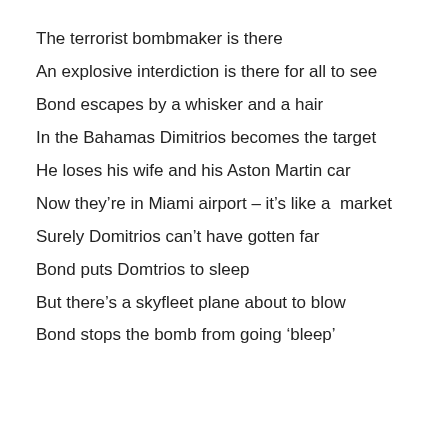The terrorist bombmaker is there
An explosive interdiction is there for all to see
Bond escapes by a whisker and a hair
In the Bahamas Dimitrios becomes the target
He loses his wife and his Aston Martin car
Now they’re in Miami airport – it’s like a  market
Surely Domitrios can’t have gotten far
Bond puts Domtrios to sleep
But there’s a skyfleet plane about to blow
Bond stops the bomb from going ‘bleep’